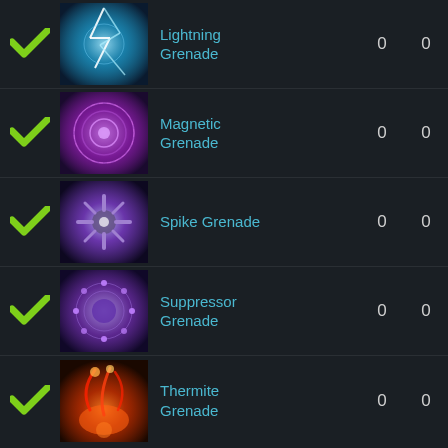Lightning Grenade	0	0
Magnetic Grenade	0	0
Spike Grenade	0	0
Suppressor Grenade	0	0
Thermite Grenade	0	0